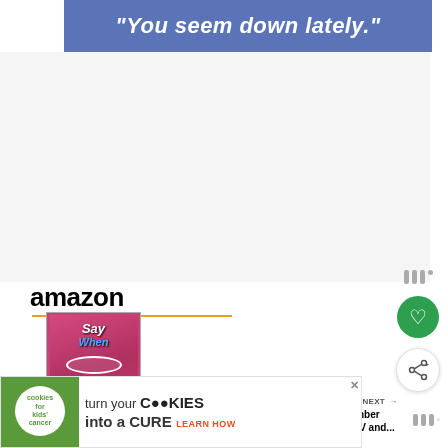[Figure (screenshot): Blue banner with white italic bold text: "You seem down lately."]
[Figure (screenshot): White/light gray content area (blank)]
[Figure (logo): Amazon logo with orange underline arrow]
[Figure (photo): Say When board game product image on pink/magenta background]
Say When game
[Figure (screenshot): Right sidebar UI: menu dots icon, green heart button, white share button]
WHAT'S NEXT → September 2022 TV and...
[Figure (screenshot): Bottom ad banner: cookies for kids' cancer - turn your COOKIES into a CURE LEARN HOW]
[Figure (screenshot): Bottom right menu icon (three bars with degree symbol)]